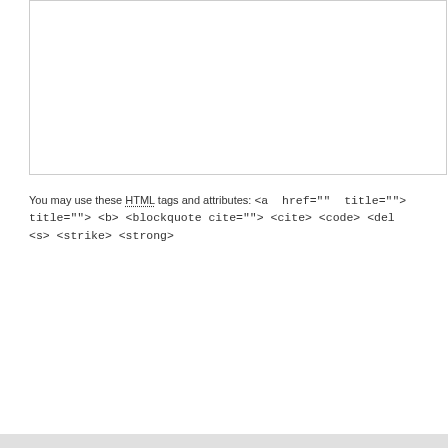[Figure (other): Empty textarea input box for comment submission]
You may use these HTML tags and attributes: <a href="" title=""> title=""> <b> <blockquote cite=""> <cite> <code> <del <s> <strike> <strong>
Post Comment
◄ David Tetteh joins Heart of Lions on loan
Like 0  Share  Tweet